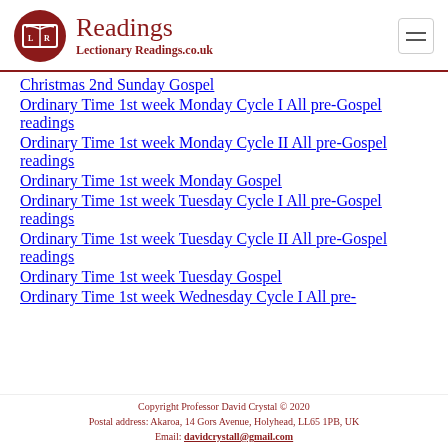Readings — Lectionary Readings.co.uk
Christmas 2nd Sunday Gospel
Ordinary Time 1st week Monday Cycle I All pre-Gospel readings
Ordinary Time 1st week Monday Cycle II All pre-Gospel readings
Ordinary Time 1st week Monday Gospel
Ordinary Time 1st week Tuesday Cycle I All pre-Gospel readings
Ordinary Time 1st week Tuesday Cycle II All pre-Gospel readings
Ordinary Time 1st week Tuesday Gospel
Ordinary Time 1st week Wednesday Cycle I All pre-Gospel readings
Copyright Professor David Crystal © 2020
Postal address: Akaroa, 14 Gors Avenue, Holyhead, LL65 1PB, UK
Email: davidcrystall@gmail.com